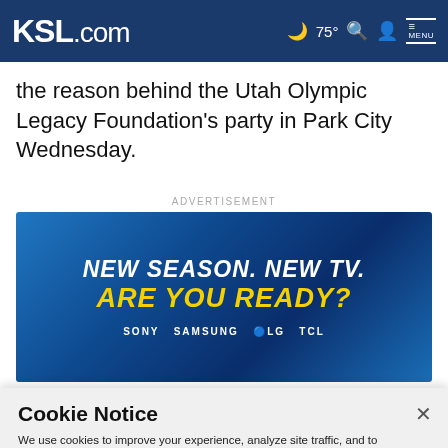KSL.com — 75° MENU
the reason behind the Utah Olympic Legacy Foundation's party in Park City Wednesday.
ADVERTISEMENT
[Figure (illustration): Advertisement banner: NEW SEASON. NEW TV. ARE YOU READY? SONY SAMSUNG LG TCL]
Cookie Notice
We use cookies to improve your experience, analyze site traffic, and to personalize content and ads. By continuing to use our site, you consent to our use of cookies. Please visit our Terms of Use and Privacy Policy for more information.
Continue